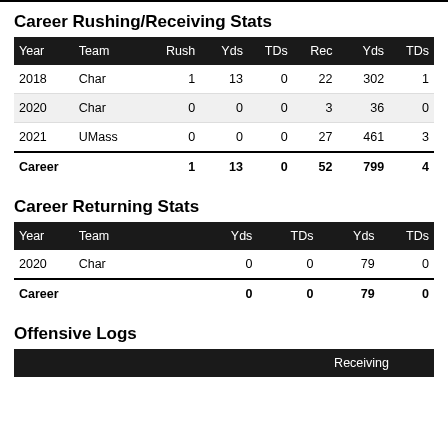Career Rushing/Receiving Stats
| Year | Team | Rush | Yds | TDs | Rec | Yds | TDs |
| --- | --- | --- | --- | --- | --- | --- | --- |
| 2018 | Char | 1 | 13 | 0 | 22 | 302 | 1 |
| 2020 | Char | 0 | 0 | 0 | 3 | 36 | 0 |
| 2021 | UMass | 0 | 0 | 0 | 27 | 461 | 3 |
| Career |  | 1 | 13 | 0 | 52 | 799 | 4 |
Career Returning Stats
| Year | Team | Yds | TDs | Yds | TDs |
| --- | --- | --- | --- | --- | --- |
| 2020 | Char | 0 | 0 | 79 | 0 |
| Career |  | 0 | 0 | 79 | 0 |
Offensive Logs
|  |  |  |  |  | Receiving |
| --- | --- | --- | --- | --- | --- |